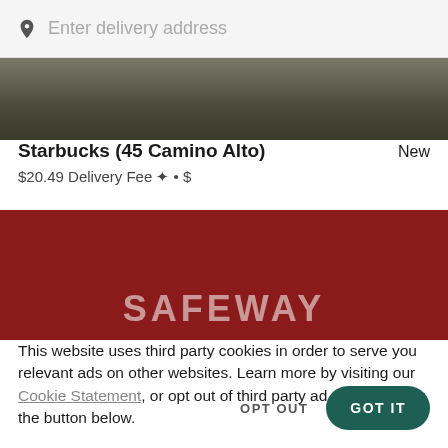Enter delivery address
[Figure (photo): Partial food/restaurant image, dark background, top portion of Starbucks listing card]
Starbucks (45 Camino Alto)   New
$20.49 Delivery Fee ✦ • $
[Figure (photo): Safeway store banner image with dark red background, SAFEWAY text, and yellow circular logo]
This website uses third party cookies in order to serve you relevant ads on other websites. Learn more by visiting our Cookie Statement, or opt out of third party ad cookies using the button below.
OPT OUT   GOT IT